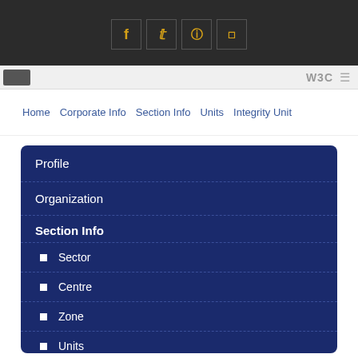Social media icons: Facebook, Twitter, Instagram, [other]
W3C
Home   Corporate Info   Section Info   Units   Integrity Unit
Profile
Organization
Section Info
Sector
Centre
Zone
Units